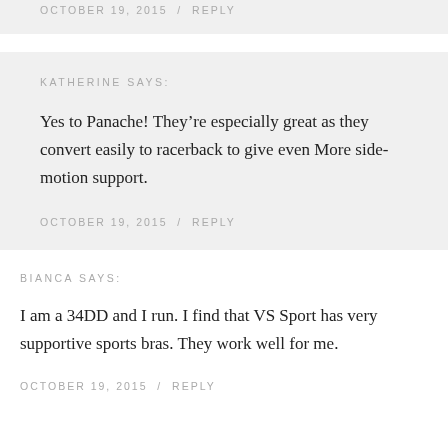OCTOBER 19, 2015  /  REPLY
KATHERINE SAYS:
Yes to Panache! They’re especially great as they convert easily to racerback to give even More side-motion support.
OCTOBER 19, 2015  /  REPLY
BIANCA SAYS:
I am a 34DD and I run. I find that VS Sport has very supportive sports bras. They work well for me.
OCTOBER 19, 2015  /  REPLY